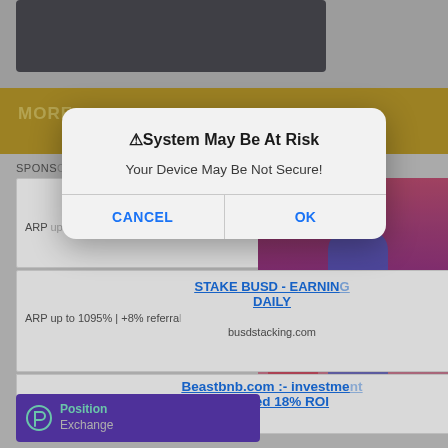[Figure (screenshot): Screenshot of a webpage with gold 'MORE' bar, sponsored ads for STAKE BUSD - EARNING DAILY and Beastbnb.com, Position Exchange ad, and an adult image ad on the right side]
MORE
SPONSORED
STAKE BUSD - EARNING DAILY
ARP up to 1095% | +8% referra
STAKE BUSD - EARNING DAILY
ARP up to 1095% | +8% referra
busdstacking.com
Beastbnb.com :- investme
get fixed 18% ROI
Position Exchange
[Figure (screenshot): iOS-style alert dialog with title 'System May Be At Risk', message 'Your Device May Be Not Secure!', and CANCEL / OK buttons]
⚠System May Be At Risk
Your Device May Be Not Secure!
CANCEL
OK